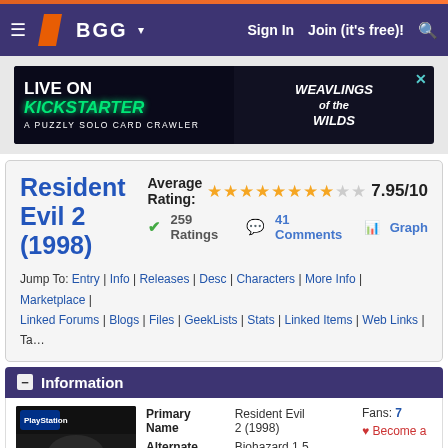BGG — Sign In | Join (it's free)!
[Figure (screenshot): Advertisement banner: Weavlings of the Wilds — Live on Kickstarter, a puzzly solo card crawler]
Resident Evil 2 (1998)
Average Rating: 7.95/10 — 259 Ratings | 41 Comments | Graph
Jump To: Entry | Info | Releases | Desc | Characters | More Info | Marketplace | Linked Forums | Blogs | Files | GeekLists | Stats | Linked Items | Web Links | Ta...
Information
| Field | Value |
| --- | --- |
| Primary Name | Resident Evil 2 (1998) |
| Alternate | Biohazard 1.5 |
| Fans: | 7 |